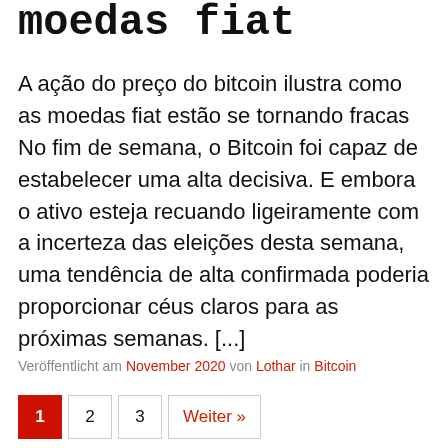moedas fiat
A ação do preço do bitcoin ilustra como as moedas fiat estão se tornando fracas No fim de semana, o Bitcoin foi capaz de estabelecer uma alta decisiva. E embora o ativo esteja recuando ligeiramente com a incerteza das eleições desta semana, uma tendência de alta confirmada poderia proporcionar céus claros para as próximas semanas. [...]
Veröffentlicht am November 2020 von Lothar in Bitcoin
1  2  3  Weiter »